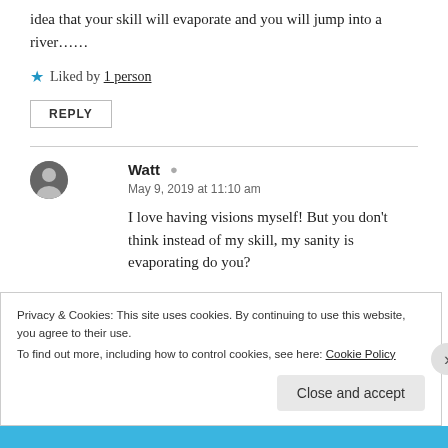idea that your skill will evaporate and you will jump into a river......
★ Liked by 1 person
REPLY
Watt
May 9, 2019 at 11:10 am
I love having visions myself! But you don't think instead of my skill, my sanity is evaporating do you?
Privacy & Cookies: This site uses cookies. By continuing to use this website, you agree to their use. To find out more, including how to control cookies, see here: Cookie Policy
Close and accept